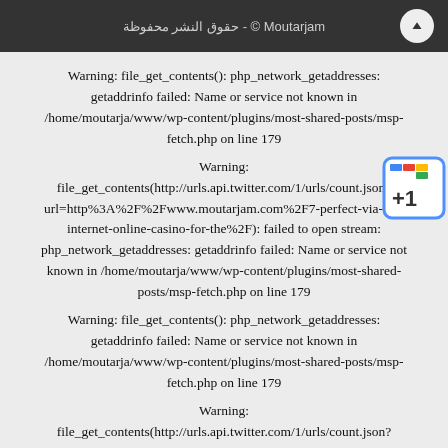Moutarjam © - حقوق النشر محفوظة
Warning: file_get_contents(): php_network_getaddresses: getaddrinfo failed: Name or service not known in /home/moutarja/www/wp-content/plugins/most-shared-posts/msp-fetch.php on line 179
Warning: file_get_contents(http://urls.api.twitter.com/1/urls/count.json?url=http%3A%2F%2Fwww.moutarjam.com%2F7-perfect-via-the-internet-online-casino-for-the%2F): failed to open stream: php_network_getaddresses: getaddrinfo failed: Name or service not known in /home/moutarja/www/wp-content/plugins/most-shared-posts/msp-fetch.php on line 179
Warning: file_get_contents(): php_network_getaddresses: getaddrinfo failed: Name or service not known in /home/moutarja/www/wp-content/plugins/most-shared-posts/msp-fetch.php on line 179
Warning: file_get_contents(http://urls.api.twitter.com/1/urls/count.json?url=http%3A%2F%2Fwww.moutarjam.com%2Fa-company-credit